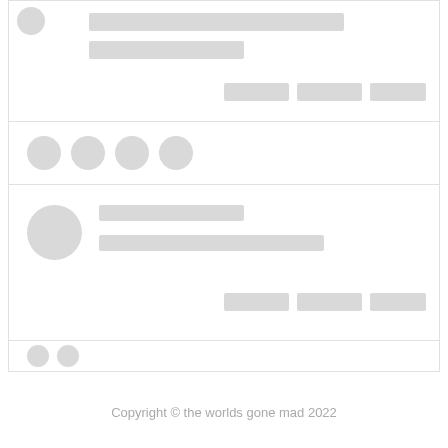[Figure (screenshot): Skeleton loading UI mockup showing social media feed cards with placeholder gray bars and circles representing content loading states, repeated across multiple card rows]
Copyright © the worlds gone mad 2022